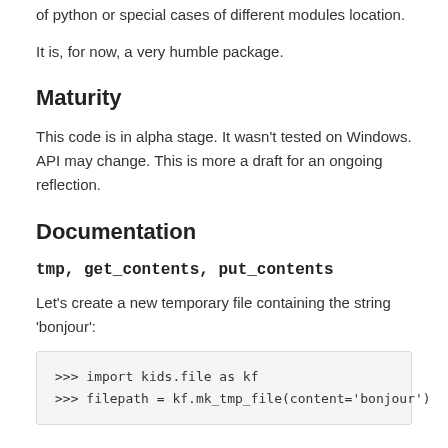of python or special cases of different modules location.
It is, for now, a very humble package.
Maturity
This code is in alpha stage. It wasn't tested on Windows. API may change. This is more a draft for an ongoing reflection.
Documentation
tmp, get_contents, put_contents
Let's create a new temporary file containing the string 'bonjour':
>>> import kids.file as kf
>>> filepath = kf.mk_tmp_file(content='bonjour')